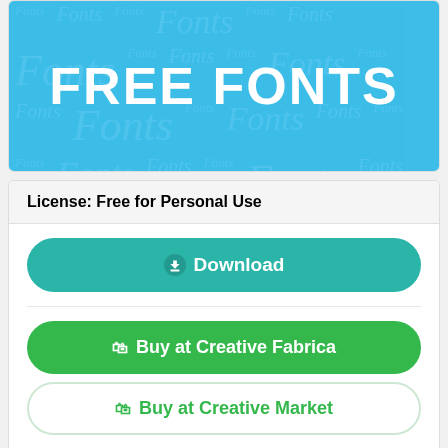[Figure (illustration): Light blue banner with the text FREE FONTS in large bold white letters, with repeating Fonts watermark text in various sizes in the background.]
License: Free for Personal Use
Download
Buy at Creative Fabrica
Buy at Creative Market